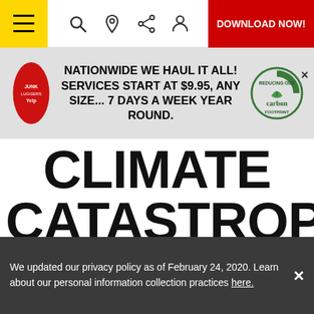≡ [icons] DOWNLOAD NOW!
[Figure (infographic): Ad banner: oval red logo on left, center text 'NATIONWIDE WE HAUL IT ALL! SERVICES START AT $9.95, ANY SIZE... 7 DAYS A WEEK YEAR ROUND.', carbon footprint badge on right with X close button]
CLIMATE CATASTROPHE
[Figure (photo): Hands holding Earth globe against dark space background, with yellow CELLPHONE tag, date August 28, 2019, and partial headline text 'HOW SHOULD W... TALK ABOUT WHAT'S HAPPENING']
We updated our privacy policy as of February 24, 2020. Learn about our personal information collection practices here.